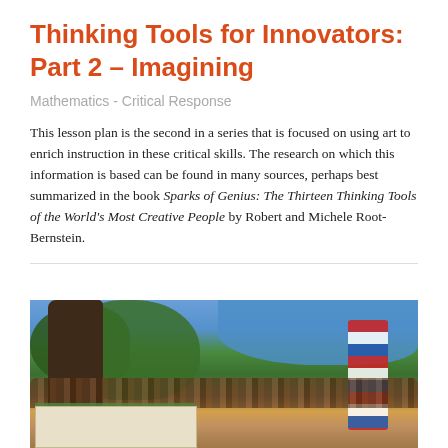Thinking Tools for Innovators: Part 2 – Imagining
Mathematics - Critical Response
This lesson plan is the second in a series that is focused on using art to enrich instruction in these critical skills. The research on which this information is based can be found in many sources, perhaps best summarized in the book Sparks of Genius: The Thirteen Thinking Tools of the World's Most Creative People by Robert and Michele Root-Bernstein.
[Figure (illustration): A painting depicting a large tree with dense foliage, a festive scene with a decorated banner/curtain on the right, a platform or table draped in green cloth with red stripes in the foreground, and figures or a crowd in the middle ground, set against a blue sky.]